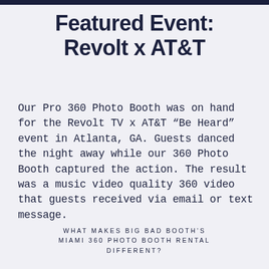Featured Event: Revolt x AT&T
Our Pro 360 Photo Booth was on hand for the Revolt TV x AT&T “Be Heard” event in Atlanta, GA. Guests danced the night away while our 360 Photo Booth captured the action. The result was a music video quality 360 video that guests received via email or text message.
WHAT MAKES BIG BAD BOOTH’S MIAMI 360 PHOTO BOOTH RENTAL DIFFERENT?